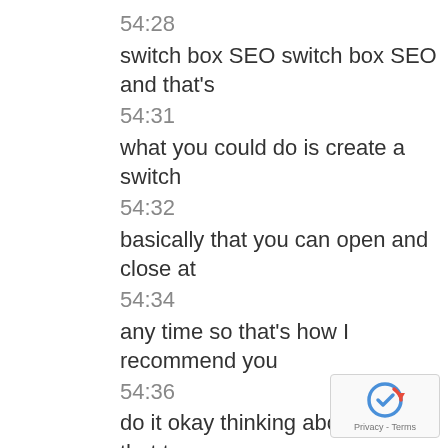54:28
switch box SEO switch box SEO and that's
54:31
what you could do is create a switch
54:32
basically that you can open and close at
54:34
any time so that's how I recommend you
54:36
do it okay thinking about doing that to
54:40
Google stacks and some other one tier
54:41
one properties Google stacks I haven't
54:43
tried it off of that it probably would
54:45